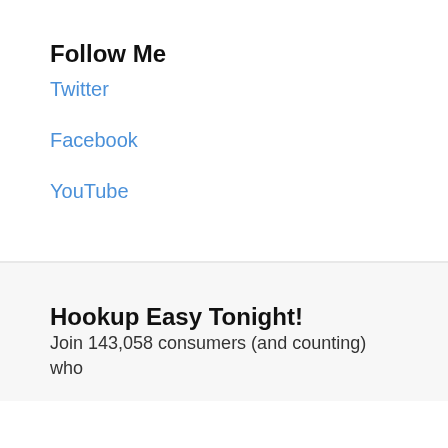Follow Me
Twitter
Facebook
YouTube
Hookup Easy Tonight!
Join 143,058 consumers (and counting) who